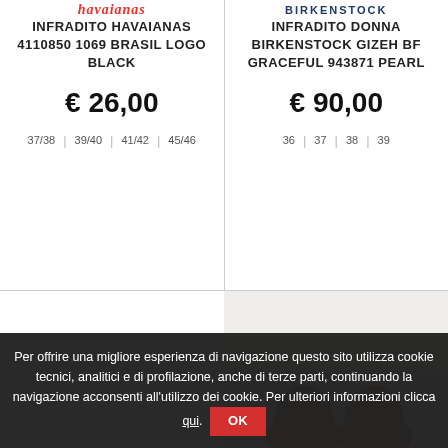[Figure (logo): Havaianas brand logo in red italic text]
INFRADITO HAVAIANAS 4110850 1069 BRASIL LOGO BLACK
€ 26,00
37/38 | 39/40 | 41/42 | 45/46
[Figure (logo): Birkenstock brand logo in dark blue uppercase text]
INFRADITO Donna BIRKENSTOCK GIZEH BF GRACEFUL 943871 PEARL
€ 90,00
36 | 37 | 38 | 39
[Figure (photo): Photo showing sandals/flip flops on a textured white surface, partial view from below]
Per offrire una migliore esperienza di navigazione questo sito utilizza cookie tecnici, analitici e di profilazione, anche di terze parti, continuando la navigazione acconsenti all'utilizzo dei cookie. Per ulteriori informazioni clicca qui. OK